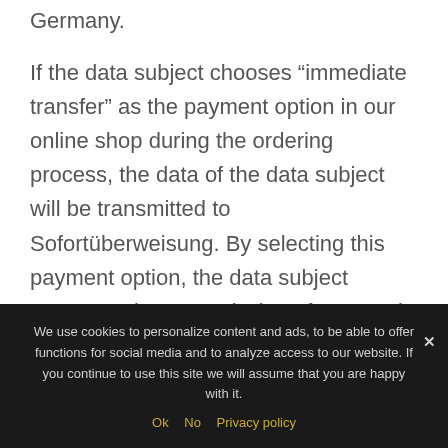Germany.
If the data subject chooses “immediate transfer” as the payment option in our online shop during the ordering process, the data of the data subject will be transmitted to Sofortüberweisung. By selecting this payment option, the data subject agrees to the transmission of personal data required for payment processing.
In the case of purchase processing via direct
We use cookies to personalize content and ads, to be able to offer functions for social media and to analyze access to our website. If you continue to use this site we will assume that you are happy with it.
Ok   No   Privacy policy